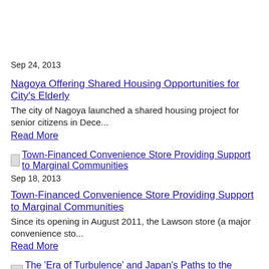Sep 24, 2013
Nagoya Offering Shared Housing Opportunities for City's Elderly
The city of Nagoya launched a shared housing project for senior citizens in Dece...
Read More
[Figure (other): Thumbnail image link for Town-Financed Convenience Store article]
Sep 18, 2013
Town-Financed Convenience Store Providing Support to Marginal Communities
Since its opening in August 2011, the Lawson store (a major convenience sto...
Read More
[Figure (other): Thumbnail image link for The 'Era of Turbulence' and Japan's Paths to the Future article]
Apr 2, 2013